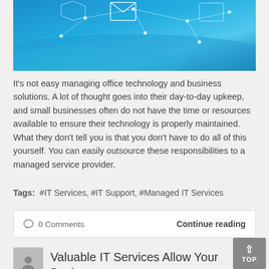[Figure (photo): Blue technology network background image with envelope icon and geometric lines]
It's not easy managing office technology and business solutions. A lot of thought goes into their day-to-day upkeep, and small businesses often do not have the time or resources available to ensure their technology is properly maintained. What they don't tell you is that you don't have to do all of this yourself. You can easily outsource these responsibilities to a managed service provider.
Tags:  #IT Services, #IT Support, #Managed IT Services
0 Comments    Continue reading
[Figure (illustration): User avatar placeholder icon]
Valuable IT Services Allow Your Business to